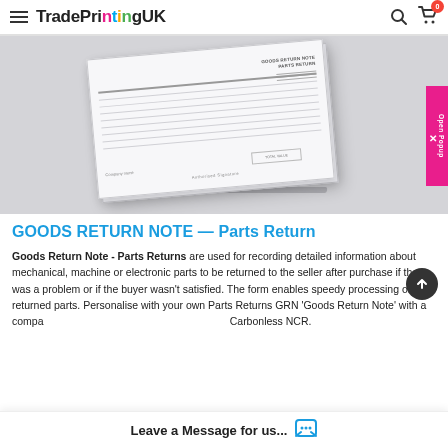TradePrintingUK
[Figure (photo): Product photo of a Goods Return Note NCR pad shown at an angle on a grey background]
GOODS RETURN NOTE — Parts Return
Goods Return Note - Parts Returns are used for recording detailed information about mechanical, machine or electronic parts to be returned to the seller after purchase if there was a problem or if the buyer wasn't satisfied. The form enables speedy processing of the returned parts. Personalise with your own Parts Returns GRN 'Goods Return Note' with a company stamp or logo on Single or Duplicate Carbonless NCR.